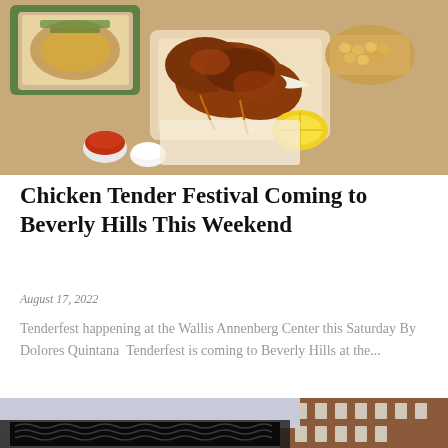[Figure (photo): Overhead view of fried chicken tenders and food items in takeout trays on a wooden table, with dipping sauces visible]
Chicken Tender Festival Coming to Beverly Hills This Weekend
August 17, 2022
Tenderfest happening at the Wallis Annenberg Center this Saturday By Dolores Quintana  Tenderfest is coming to Beverly Hills at the...
[Figure (photo): Outdoor scene with a chain-link fence covered in black netting, with a brick building in the background under an overcast sky]